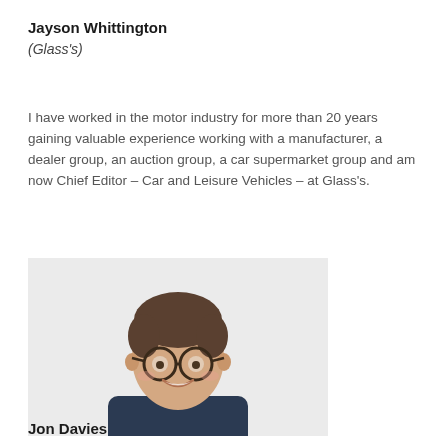Jayson Whittington
(Glass's)
I have worked in the motor industry for more than 20 years gaining valuable experience working with a manufacturer, a dealer group, an auction group, a car supermarket group and am now Chief Editor – Car and Leisure Vehicles – at Glass's.
[Figure (photo): Headshot of a smiling young man with glasses, wearing a dark blue sweater with a mustard/yellow collar, against a light background.]
Jon Davies